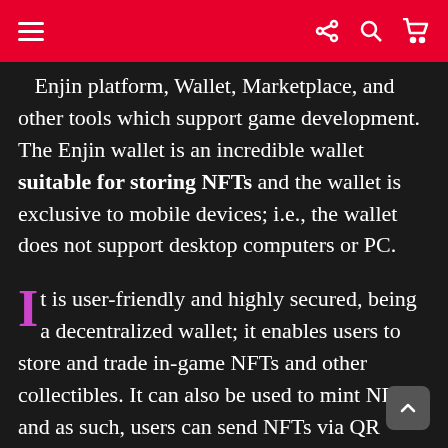≡  ⋖ 🔍 🛒
Enjin platform, Wallet, Marketplace, and other tools which support game development. The Enjin wallet is an incredible wallet suitable for storing NFTs and the wallet is exclusive to mobile devices; i.e., the wallet does not support desktop computers or PC.
It is user-friendly and highly secured, being a decentralized wallet; it enables users to store and trade in-game NFTs and other collectibles. It can also be used to mint NFTs, and as such, users can send NFTs via QR codes.